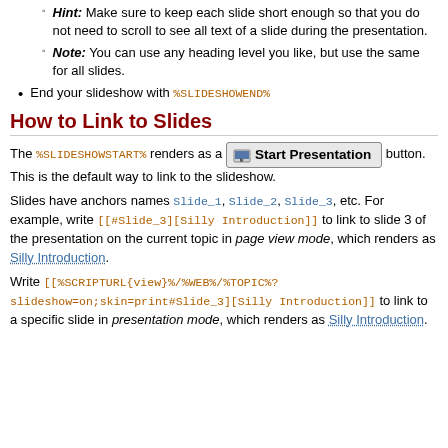Hint: Make sure to keep each slide short enough so that you do not need to scroll to see all text of a slide during the presentation.
Note: You can use any heading level you like, but use the same for all slides.
End your slideshow with %SLIDESHOWEND%
How to Link to Slides
The %SLIDESHOWSTART% renders as a [Start Presentation] button. This is the default way to link to the slideshow.
Slides have anchors names Slide_1, Slide_2, Slide_3, etc. For example, write [[#Slide_3][Silly Introduction]] to link to slide 3 of the presentation on the current topic in page view mode, which renders as Silly Introduction.
Write [[%SCRIPTURL{view}%/%WEB%/%TOPIC%?slideshow=on;skin=print#Slide_3][Silly Introduction]] to link to a specific slide in presentation mode, which renders as Silly Introduction.